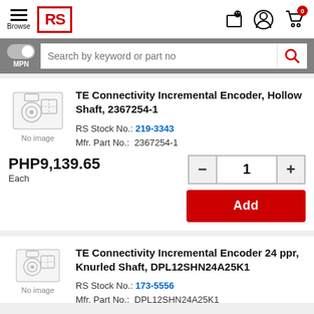[Figure (screenshot): RS Components website header with hamburger menu, Browse label, RS logo, store locator, account, and cart icons]
[Figure (screenshot): Search bar with MPN toggle and search field 'Search by keyword or part no']
[Figure (screenshot): Product listing card 1: TE Connectivity Incremental Encoder, Hollow Shaft, 2367254-1, no image placeholder]
TE Connectivity Incremental Encoder, Hollow Shaft, 2367254-1
RS Stock No.: 219-3343
Mfr. Part No.: 2367254-1
PHP9,139.65 Each
[Figure (screenshot): Quantity selector with minus, 1, plus buttons and red Add button]
TE Connectivity Incremental Encoder 24 ppr, Knurled Shaft, DPL12SHN24A25K1
RS Stock No.: 173-5556
Mfr. Part No.: DPL12SHN24A25K1